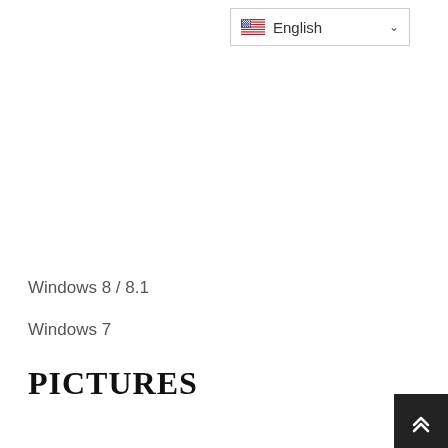[Figure (screenshot): Language selector dropdown button showing US flag and 'English' text with a chevron/dropdown arrow]
Windows 8 / 8.1
Windows 7
PICTURES
[Figure (other): Back to top button (dark square with upward double chevron arrow) in bottom-right corner]